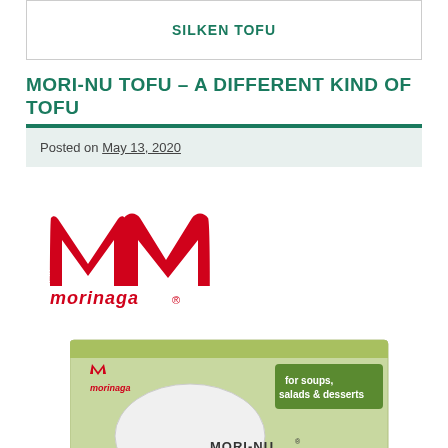SILKEN TOFU
MORI-NU TOFU – A DIFFERENT KIND OF TOFU
Posted on May 13, 2020
[Figure (logo): Morinaga red M logo with 'morinaga' text and registered trademark symbol in red]
[Figure (photo): Mori-Nu silken tofu product box, light green color, with text 'for soups, salads & desserts' and 'MORI-NU' label visible]